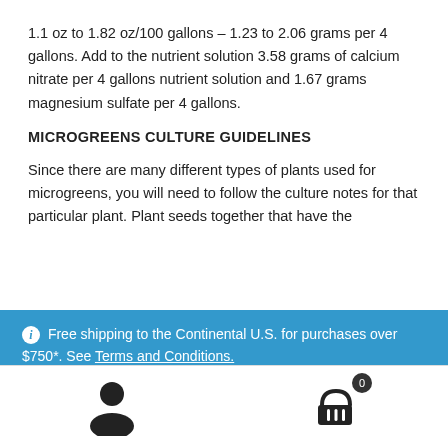1.1 oz to 1.82 oz/100 gallons – 1.23 to 2.06 grams per 4 gallons. Add to the nutrient solution 3.58 grams of calcium nitrate per 4 gallons nutrient solution and 1.67 grams magnesium sulfate per 4 gallons.
MICROGREENS CULTURE GUIDELINES
Since there are many different types of plants used for microgreens, you will need to follow the culture notes for that particular plant. Plant seeds together that have the
ⓘ Free shipping to the Continental U.S. for purchases over $750*. See Terms and Conditions. Dismiss
[Figure (illustration): Person/user account icon at the bottom navigation bar]
[Figure (illustration): Shopping cart icon with badge showing 0 items at the bottom navigation bar]